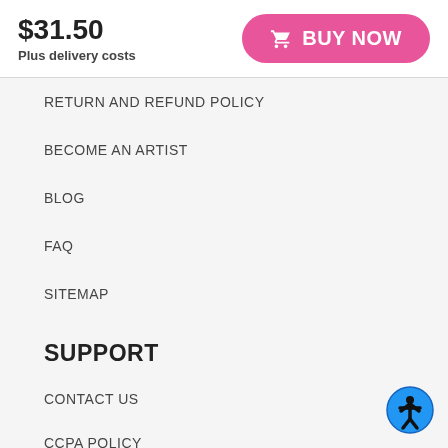$31.50
Plus delivery costs
BUY NOW
RETURN AND REFUND POLICY
BECOME AN ARTIST
BLOG
FAQ
SITEMAP
SUPPORT
CONTACT US
CCPA POLICY
Email
contact@artistshot.com